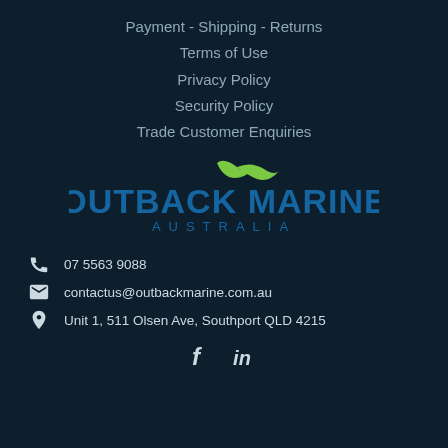Payment - Shipping - Returns
Terms of Use
Privacy Policy
Security Policy
Trade Customer Enquiries
[Figure (logo): Outback Marine Australia logo with green bird/wave graphic above blue bold text OUTBACK MARINE and AUSTRALIA in spaced capitals below]
07 5563 9088
contactus@outbackmarine.com.au
Unit 1, 511 Olsen Ave, Southport QLD 4215
[Figure (illustration): Facebook and LinkedIn social media icons in white]